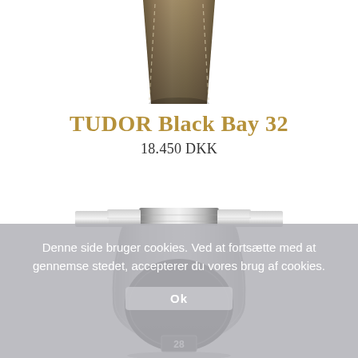[Figure (photo): Top portion of a Tudor watch with a brown/khaki leather strap with stitching, shown from above, cropped at top of page]
TUDOR Black Bay 32
18.450 DKK
[Figure (photo): Bottom portion of a Tudor Black Bay 32 watch showing the steel bracelet/lugs and the watch case with a dark dial, date window showing '28', partially obscured by cookie banner]
Denne side bruger cookies. Ved at fortsætte med at gennemse stedet, accepterer du vores brug af cookies.